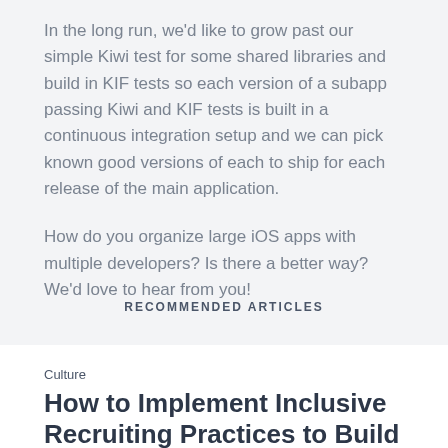In the long run, we'd like to grow past our simple Kiwi test for some shared libraries and build in KIF tests so each version of a subapp passing Kiwi and KIF tests is built in a continuous integration setup and we can pick known good versions of each to ship for each release of the main application.
How do you organize large iOS apps with multiple developers? Is there a better way? We'd love to hear from you!
RECOMMENDED ARTICLES
Culture
How to Implement Inclusive Recruiting Practices to Build a More Diverse Team